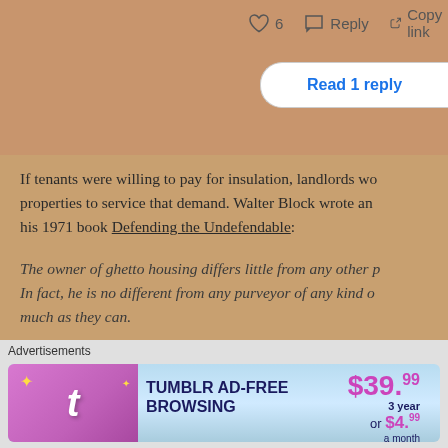[Figure (screenshot): Social media action bar with heart icon (6 likes), Reply button, and Copy link button]
[Figure (screenshot): Read 1 reply button in blue text on white rounded rectangle]
If tenants were willing to pay for insulation, landlords wo... properties to service that demand. Walter Block wrote an... his 1971 book Defending the Undefendable:
The owner of ghetto housing differs little from any other p... In fact, he is no different from any purveyor of any kind o... much as they can.
First consider the purveyors of cheap, inferior, and secon... One thing above all else stands out about merchandise th... built, inferior in quality, or second-hand.
A rational person would not expect high quality, exqu...
Advertisements
[Figure (screenshot): Tumblr Ad-Free Browsing advertisement banner showing $39.99/3 year or $4.99/month pricing]